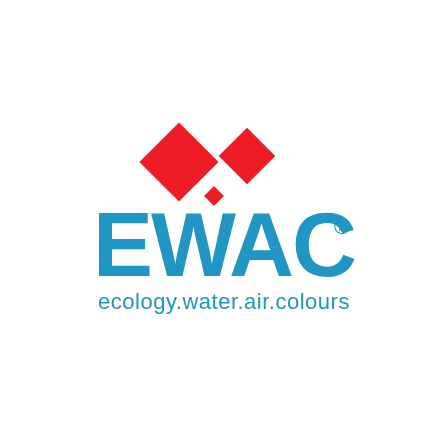[Figure (logo): EWAC logo consisting of three red diamond shapes arranged in a triangular pattern above the blue bold text 'EWAC' with a registered trademark symbol, and the tagline 'ecology.water.air.colours' in blue below]